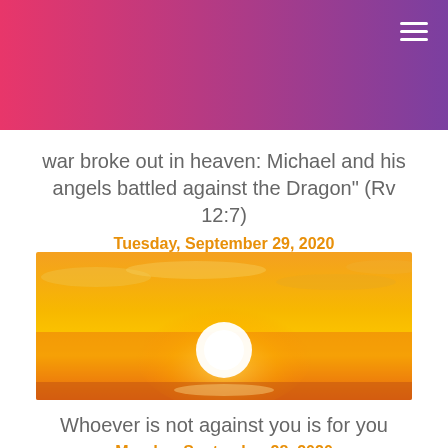war broke out in heaven: Michael and his angels battled against the Dragon" (Rv 12:7)
Tuesday, September 29, 2020
[Figure (photo): Bright orange and yellow sunset with a glowing white sun near the horizon, clouds scattered across an orange sky]
Whoever is not against you is for you
Monday, September 28, 2020
[Figure (photo): Partial view of another sunset image at bottom of page, similar orange tones]